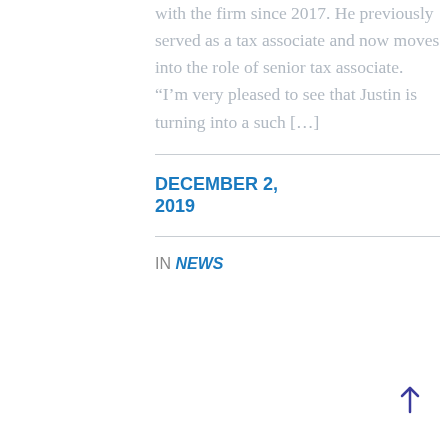with the firm since 2017. He previously served as a tax associate and now moves into the role of senior tax associate.  “I’m very pleased to see that Justin is turning into a such […]
DECEMBER 2, 2019
IN NEWS